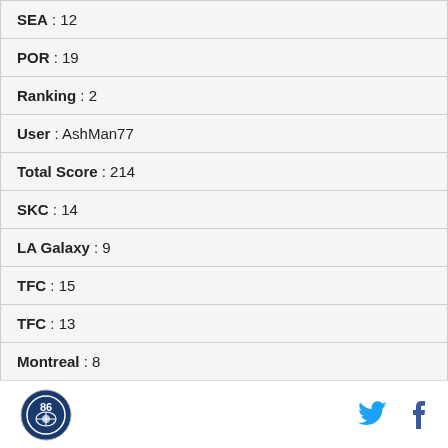| SEA : 12 |
| POR : 19 |
| Ranking : 2 |
| User : AshMan77 |
| Total Score : 214 |
| SKC : 14 |
| LA Galaxy : 9 |
| TFC : 15 |
| TFC : 13 |
| Montreal : 8 |
| TFC : 13 |
Logo | Twitter | Facebook